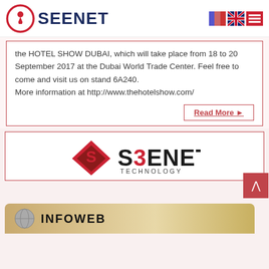[Figure (logo): SEENET company logo with red circle icon and dark blue text]
[Figure (logo): French flag, UK flag, and hamburger menu icons in header]
the HOTEL SHOW DUBAI, which will take place from 18 to 20 September 2017 at the Dubai World Trade Center. Feel free to come and visit us on stand 6A240.
More information at http://www.thehotelshow.com/
Read More ▶
[Figure (logo): SEENET TECHNOLOGY logo with red diamond S symbol]
[Figure (logo): INFOWEB partial banner with golden/tan background]